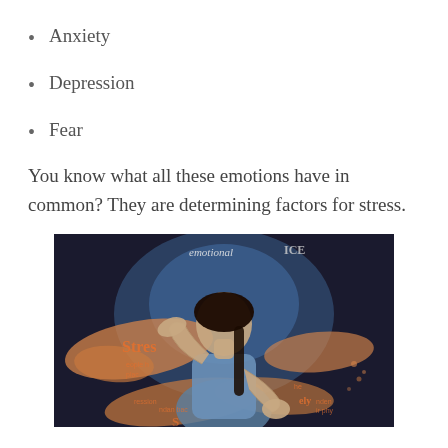Anxiety
Depression
Fear
You know what all these emotions have in common? They are determining factors for stress.
[Figure (photo): A woman in a blue shirt holding her hand to her forehead and her other hand outstretched, surrounded by orange word cloud imagery including 'Stress' and other stress-related terms on a dark background]